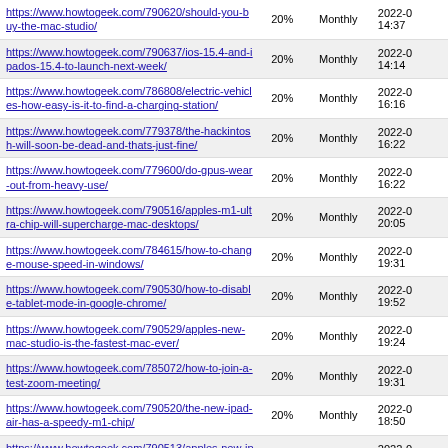| URL | % | Frequency | Date |
| --- | --- | --- | --- |
| https://www.howtogeek.com/790620/should-you-buy-the-mac-studio/ | 20% | Monthly | 2022-0 14:37 |
| https://www.howtogeek.com/790637/ios-15.4-and-ipados-15.4-to-launch-next-week/ | 20% | Monthly | 2022-0 14:14 |
| https://www.howtogeek.com/786808/electric-vehicles-how-easy-is-it-to-find-a-charging-station/ | 20% | Monthly | 2022-0 16:16 |
| https://www.howtogeek.com/779378/the-hackintosh-will-soon-be-dead-and-thats-just-fine/ | 20% | Monthly | 2022-0 16:22 |
| https://www.howtogeek.com/779600/do-gpus-wear-out-from-heavy-use/ | 20% | Monthly | 2022-0 16:22 |
| https://www.howtogeek.com/790516/apples-m1-ultra-chip-will-supercharge-mac-desktops/ | 20% | Monthly | 2022-0 20:05 |
| https://www.howtogeek.com/784615/how-to-change-mouse-speed-in-windows/ | 20% | Monthly | 2022-0 19:31 |
| https://www.howtogeek.com/790530/how-to-disable-tablet-mode-in-google-chrome/ | 20% | Monthly | 2022-0 19:52 |
| https://www.howtogeek.com/790529/apples-new-mac-studio-is-the-fastest-mac-ever/ | 20% | Monthly | 2022-0 19:24 |
| https://www.howtogeek.com/785072/how-to-join-a-test-zoom-meeting/ | 20% | Monthly | 2022-0 19:31 |
| https://www.howtogeek.com/790520/the-new-ipad-air-has-a-speedy-m1-chip/ | 20% | Monthly | 2022-0 18:50 |
| https://www.howtogeek.com/790513/apples-new-iphone-se-is-as-fast-as-an-iphone-13/ | 20% | Monthly | 2022-0 18:30 |
| https://www.howtogeek.com/787217/how-to-edit-... | 20% | Monthly | 2022-0 ... |